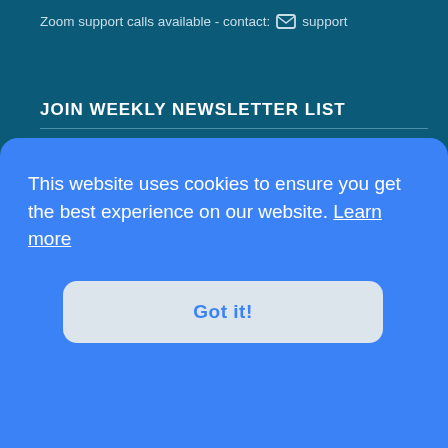Zoom support calls available - contact: ✉ support
JOIN WEEKLY NEWSLETTER LIST
email address
SUBSCRIBE
SOCIAL NETWORKS
This website uses cookies to ensure you get the best experience on our website. Learn more
Got it!